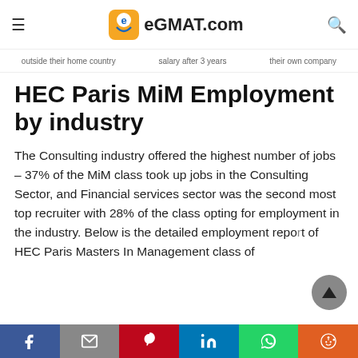eGMAT.com
outside their home country   salary after 3 years   their own company
HEC Paris MiM Employment by industry
The Consulting industry offered the highest number of jobs – 37% of the MiM class took up jobs in the Consulting Sector, and Financial services sector was the second most top recruiter with 28% of the class opting for employment in the industry. Below is the detailed employment report of HEC Paris Masters In Management class of